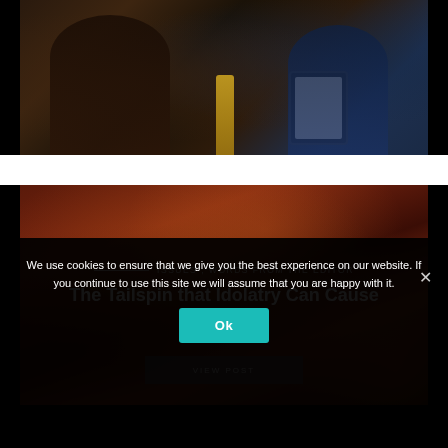[Figure (photo): Photo of two people sitting at a restaurant or bar, with a bottle and a tablet/menu visible]
[Figure (photo): Photo of a woman's face with warm reddish-brown tones, overlaid with article text and a VIEW POST button]
ISSUES , WORDS FROM THE EDITOR
The Tailspin that Idolatry Can Cause
VIEW POST
We use cookies to ensure that we give you the best experience on our website. If you continue to use this site we will assume that you are happy with it.
Ok